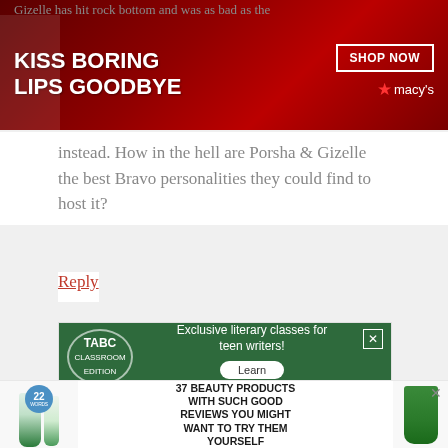[Figure (photo): Advertisement banner: 'KISS BORING LIPS GOODBYE' with Macy's branding and 'SHOP NOW' button, dark red background with woman's face]
instead. How in the hell are Porsha & Gizelle the best Bravo personalities they could find to host it?
Reply
[Figure (photo): TABC Classroom Edition advertisement showing literary classes for teen writers with 'Learn More' button and photo of teens in classroom]
[Figure (photo): Beauty product advertisement: '37 BEAUTY PRODUCTS WITH SUCH GOOD REVIEWS YOU MIGHT WANT TO TRY THEM YOURSELF' with Cetaphil and Weleda products, badge showing '22']